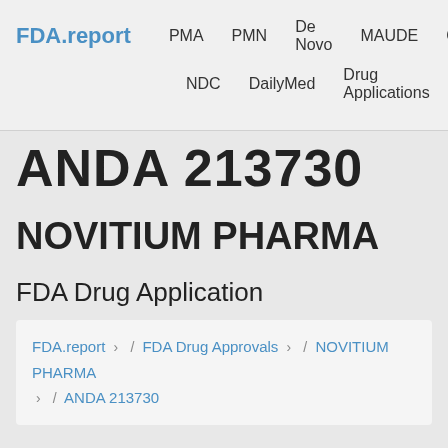FDA.report  PMA  PMN  De Novo  MAUDE  GUDID  NDC  DailyMed  Drug Applications
ANDA 213730
NOVITIUM PHARMA
FDA Drug Application
FDA.report › / FDA Drug Approvals › / NOVITIUM PHARMA › / ANDA 213730